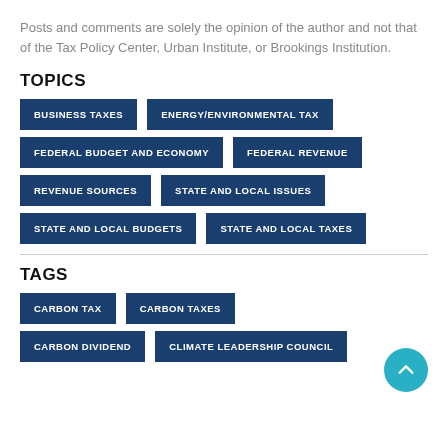Posts and comments are solely the opinion of the author and not that of the Tax Policy Center, Urban Institute, or Brookings Institution.
TOPICS
BUSINESS TAXES
ENERGY/ENVIRONMENTAL TAX
FEDERAL BUDGET AND ECONOMY
FEDERAL REVENUE
REVENUE SOURCES
STATE AND LOCAL ISSUES
STATE AND LOCAL BUDGETS
STATE AND LOCAL TAXES
TAGS
CARBON TAX
CARBON TAXES
CARBON DIVIDEND
CLIMATE LEADERSHIP COUNCIL